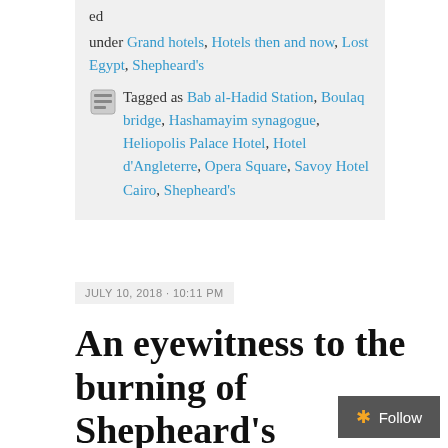ed
under Grand hotels, Hotels then and now, Lost Egypt, Shepheard's
Tagged as Bab al-Hadid Station, Boulaq bridge, Hashamayim synagogue, Heliopolis Palace Hotel, Hotel d'Angleterre, Opera Square, Savoy Hotel Cairo, Shepheard's
JULY 10, 2018 · 10:11 PM
An eyewitness to the burning of Shepheard's